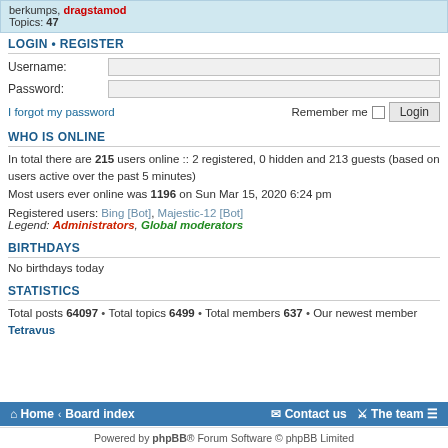berkumps, dragstamod
Topics: 47
LOGIN • REGISTER
Username:
Password:
I forgot my password    Remember me  Login
WHO IS ONLINE
In total there are 215 users online :: 2 registered, 0 hidden and 213 guests (based on users active over the past 5 minutes)
Most users ever online was 1196 on Sun Mar 15, 2020 6:24 pm
Registered users: Bing [Bot], Majestic-12 [Bot]
Legend: Administrators, Global moderators
BIRTHDAYS
No birthdays today
STATISTICS
Total posts 64097 • Total topics 6499 • Total members 637 • Our newest member Tetravus
Home · Board index    Contact us  The team
Powered by phpBB® Forum Software © phpBB Limited